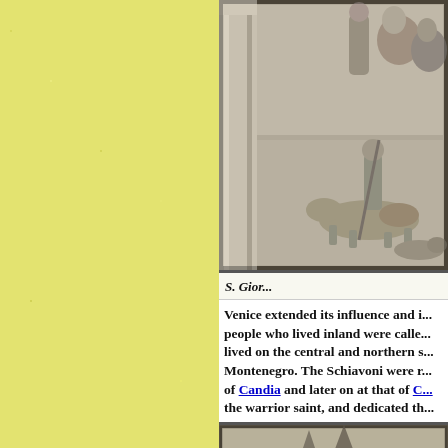[Figure (photo): Stone relief carving/sculpture showing figures, likely depicting St. George (S. Giorgio), with a pillar on the left and ornate carved scenes including figures and a fallen animal]
S. Gior...
Venice extended its influence and i... people who lived inland were called... lived on the central and northern s... Montenegro. The Schiavoni were r... of Candia and later on at that of C... the warrior saint, and dedicated th...
[Figure (photo): Photograph of a building facade, likely a church or scuola in Venice, with a spire or architectural element visible]